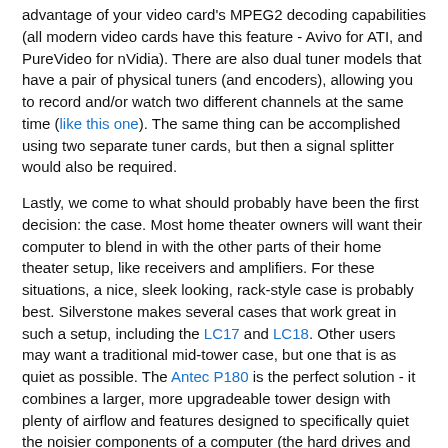advantage of your video card's MPEG2 decoding capabilities (all modern video cards have this feature - Avivo for ATI, and PureVideo for nVidia). There are also dual tuner models that have a pair of physical tuners (and encoders), allowing you to record and/or watch two different channels at the same time (like this one). The same thing can be accomplished using two separate tuner cards, but then a signal splitter would also be required.
Lastly, we come to what should probably have been the first decision: the case. Most home theater owners will want their computer to blend in with the other parts of their home theater setup, like receivers and amplifiers. For these situations, a nice, sleek looking, rack-style case is probably best. Silverstone makes several cases that work great in such a setup, including the LC17 and LC18. Other users may want a traditional mid-tower case, but one that is as quiet as possible. The Antec P180 is the perfect solution - it combines a larger, more upgradeable tower design with plenty of airflow and features designed to specifically quiet the noisier components of a computer (the hard drives and fans). Lastly, there may be people who want simply the smallest computer possible - perhaps for a dorm or bedroom. Again Silverstone comes through with the MicroATX-size SG01. It is also extremely portable, and has an optional duffle-bag-style carrying case.